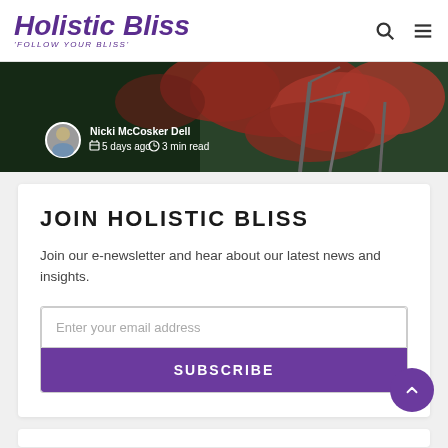Holistic Bliss — 'FOLLOW YOUR BLISS'
[Figure (photo): Hero banner with autumn red foliage tree branches in background, overlaid with author avatar photo of Nicki McCosker Dell, calendar icon, '5 days ago', clock icon, '3 min read']
JOIN HOLISTIC BLISS
Join our e-newsletter and hear about our latest news and insights.
Enter your email address
SUBSCRIBE